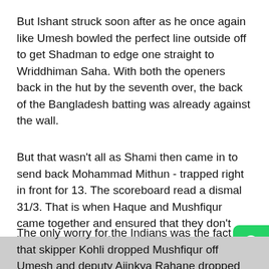But Ishant struck soon after as he once again like Umesh bowled the perfect line outside off to get Shadman to edge one straight to Wriddhiman Saha. With both the openers back in the hut by the seventh over, the back of the Bangladesh batting was already against the wall.
But that wasn't all as Shami then came in to send back Mohammad Mithun - trapped right in front for 13. The scoreboard read a dismal 31/3. That is when Haque and Mushfiqur came together and ensured that they don't lose any more wickets.
The only worry for the Indians was the fact that skipper Kohli dropped Mushfiqur off Umesh and deputy Ajinkya Rahane dropped Haque off Ashwin.